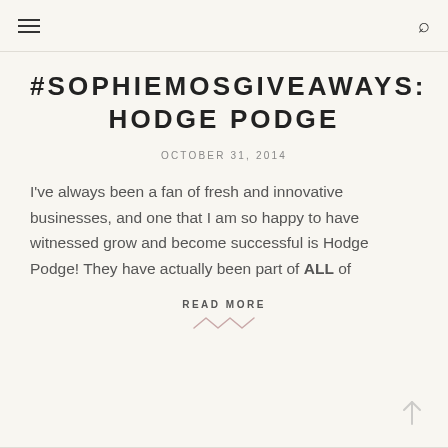≡  🔍
#SOPHIEMOSGIVEAWAYS: HODGE PODGE
OCTOBER 31, 2014
I've always been a fan of fresh and innovative businesses, and one that I am so happy to have witnessed grow and become successful is Hodge Podge! They have actually been part of ALL of
READ MORE